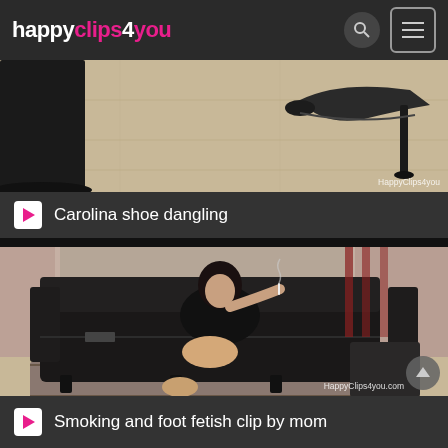happyclips4you
[Figure (screenshot): Video thumbnail showing high-heel shoes on a wooden floor with a watermark reading HappyClips4you]
Carolina shoe dangling
[Figure (screenshot): Video thumbnail showing a woman sitting on a black leather sofa smoking, with bare feet, in a living room setting. Watermark reads HappyClips4you.com]
Smoking and foot fetish clip by mom